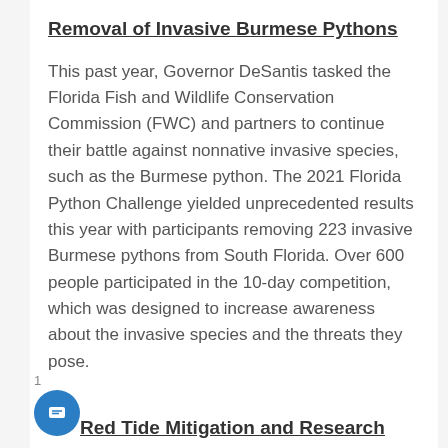Removal of Invasive Burmese Pythons
This past year, Governor DeSantis tasked the Florida Fish and Wildlife Conservation Commission (FWC) and partners to continue their battle against nonnative invasive species, such as the Burmese python. The 2021 Florida Python Challenge yielded unprecedented results this year with participants removing 223 invasive Burmese pythons from South Florida. Over 600 people participated in the 10-day competition, which was designed to increase awareness about the invasive species and the threats they pose.
Red Tide Mitigation and Research